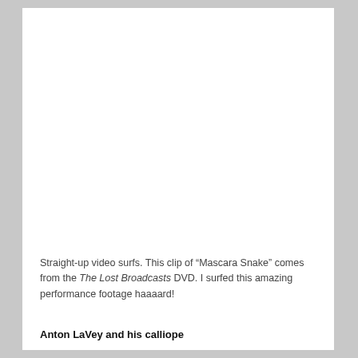Straight-up video surfs. This clip of “Mascara Snake” comes from the The Lost Broadcasts DVD. I surfed this amazing performance footage haaaard!
Anton LaVey and his calliope